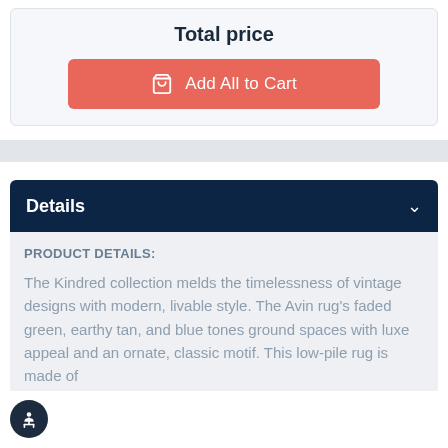Total price
Add All to Cart
Details
PRODUCT DETAILS:
The Kindred collection melds the timelessness of vintage designs with modern, livable style. The Avin rug's faded green, earthy tan, and blue tones ground spaces with luxe appeal and an ornate, classic motif. This low-pile rug is made of